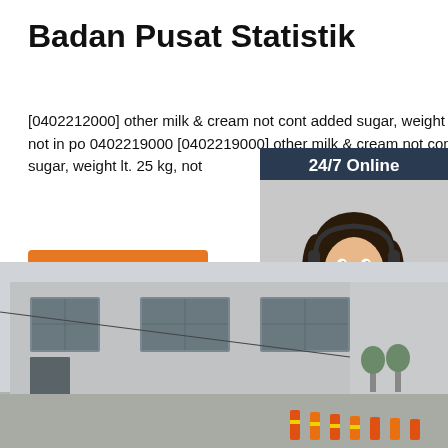Badan Pusat Statistik
[0402212000] other milk & cream not cont added sugar, weight lt. 25 kg, not in po 0402219000 [0402219000] other milk & cream not cont added sugar, weight lt. 25 kg, not
[Figure (other): Orange 'Get Price' button]
[Figure (photo): 24/7 Online chat widget overlay with woman wearing headset, dark navy background, 'Click here for free chat!' text and orange QUOTATION button]
[Figure (photo): Exterior photo of industrial warehouse building with windows, road with orange bollards in foreground]